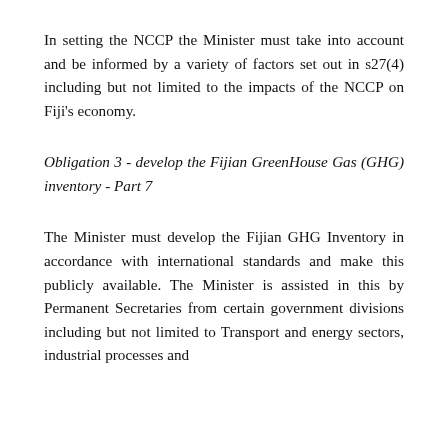In setting the NCCP the Minister must take into account and be informed by a variety of factors set out in s27(4) including but not limited to the impacts of the NCCP on Fiji's economy.
Obligation 3 - develop the Fijian GreenHouse Gas (GHG) inventory - Part 7
The Minister must develop the Fijian GHG Inventory in accordance with international standards and make this publicly available. The Minister is assisted in this by Permanent Secretaries from certain government divisions including but not limited to Transport and energy sectors, industrial processes and